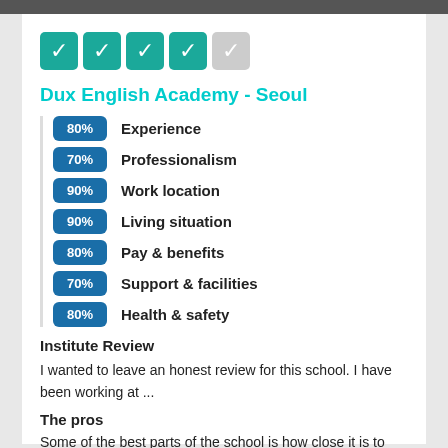[Figure (infographic): 4 filled teal star boxes and 1 empty grey star box rating display]
Dux English Academy - Seoul
80% Experience
70% Professionalism
90% Work location
90% Living situation
80% Pay & benefits
70% Support & facilities
80% Health & safety
Institute Review
I wanted to leave an honest review for this school. I have been working at ...
The pros
Some of the best parts of the school is how close it is to